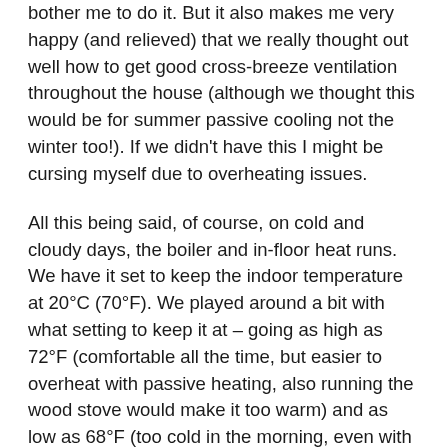bother me to do it. But it also makes me very happy (and relieved) that we really thought out well how to get good cross-breeze ventilation throughout the house (although we thought this would be for summer passive cooling not the winter too!). If we didn't have this I might be cursing myself due to overheating issues.
All this being said, of course, on cold and cloudy days, the boiler and in-floor heat runs. We have it set to keep the indoor temperature at 20°C (70°F). We played around a bit with what setting to keep it at – going as high as 72°F (comfortable all the time, but easier to overheat with passive heating, also running the wood stove would make it too warm) and as low as 68°F (too cold in the morning, even with a sweater on, and needed to be running the wood stove morning and evening). We both wear a sweater in the house in the morning – cheaper to put a sweater on then to pay for more power. If it is really cold out then I light a fire in the wood burning stove, which is